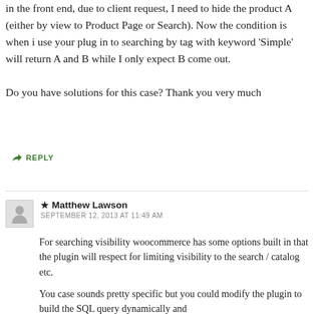in the front end, due to client request, I need to hide the product A (either by view to Product Page or Search). Now the condition is when i use your plug in to searching by tag with keyword 'Simple' will return A and B while I only expect B come out.

Do you have solutions for this case? Thank you very much
↳ REPLY
★ Matthew Lawson
SEPTEMBER 12, 2013 AT 11:49 AM
For searching visibility woocommerce has some options built in that the plugin will respect for limiting visibility to the search / catalog etc.

You case sounds pretty specific but you could modify the plugin to build the SQL query dynamically and